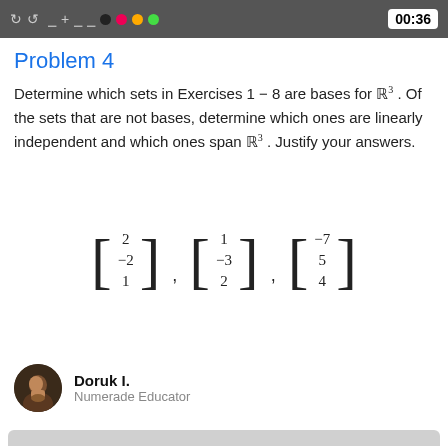00:36
Problem 4
Determine which sets in Exercises 1 − 8 are bases for ℝ³. Of the sets that are not bases, determine which ones are linearly independent and which ones span ℝ³. Justify your answers.
Doruk I.
Numerade Educator
[Figure (screenshot): Handwritten solution panel showing vectors v1, v2, v3, v4 and the statement: S={v1,v2,v3,v4} linearly dependent, since v3=0.]